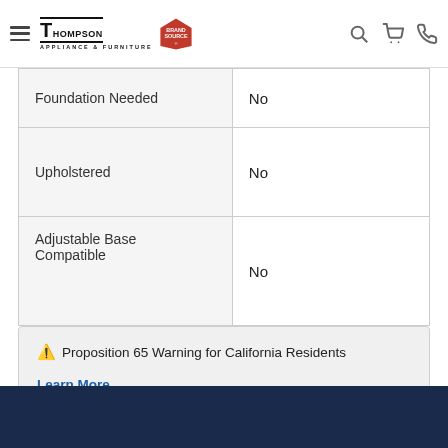Thompson Appliance & Furniture / Brand Source — navigation header
| Feature | Value |
| --- | --- |
| Foundation Needed | No |
| Upholstered | No |
| Adjustable Base Compatible | No |
⚠ Proposition 65 Warning for California Residents
Learn More